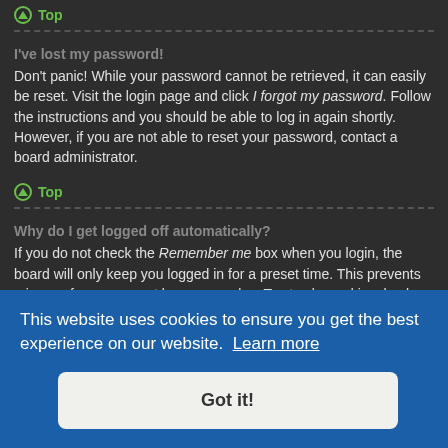Top
I've lost my password!
Don't panic! While your password cannot be retrieved, it can easily be reset. Visit the login page and click I forgot my password. Follow the instructions and you should be able to log in again shortly.
However, if you are not able to reset your password, contact a board administrator.
Top
Why do I get logged off automatically?
If you do not check the Remember me box when you login, the board will only keep you logged in for a preset time. This prevents misuse of your account by anyone else. To stay logged in, check the Remember me box during login. This is not recommended if you access the board from a shared computer, e.g.
[Figure (screenshot): Cookie consent banner overlay with blue background showing 'This website uses cookies to ensure you get the best experience on our website. Learn more' and a 'Got it!' button]
read tracking if they have been enabled by a board administrator. If you are